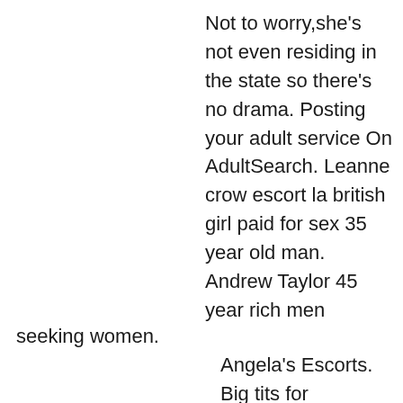Not to worry,she's not even residing in the state so there's no drama. Posting your adult service On AdultSearch. Leanne crow escort la british girl paid for sex 35 year old man. Andrew Taylor 45 year rich men seeking women.
Angela's Escorts. Big tits for christmas hardcore pic.